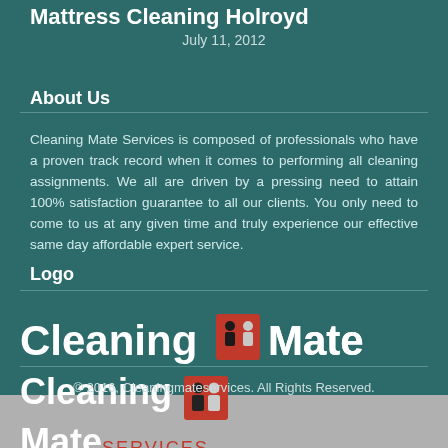Mattress Cleaning Holroyd
July 11, 2012
About Us
Cleaning Mate Services is composed of professionals who have a proven track record when it comes to performing all cleaning assignments. We all are driven by a pressing need to attain 100% satisfaction guarantee to all our clients. You only need to come to us at any given time and truly experience our effective same day affordable expert service.
Logo
[Figure (logo): Cleaning Mate Services logo: white bold text 'Cleaning', a red rectangular icon with two figure shapes, white bold text 'Mate', and red small caps text 'SERVICES']
© 2016, Cleaningmateservices. All Rights Reserved.
This site uses cookies. By continuing to browse the site, you are agreeing to our use of cookies. Find out more.